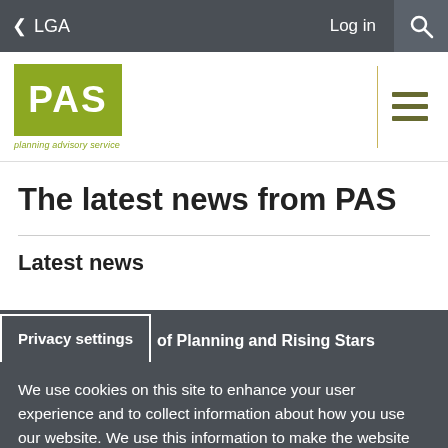< LGA   Log in  [search]
[Figure (logo): PAS - Planning Advisory Service green logo with tagline]
The latest news from PAS
Latest news
Privacy settings   of Planning and Rising Stars
We use cookies on this site to enhance your user experience and to collect information about how you use our website. We use this information to make the website work as well as possible and to improve our